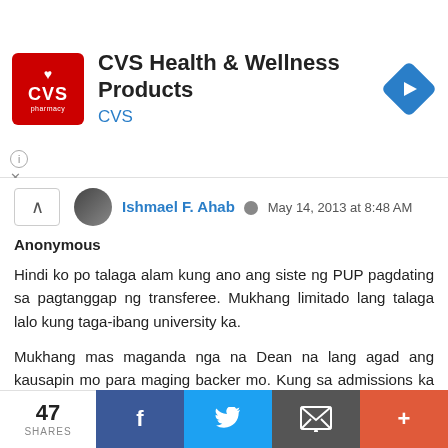[Figure (screenshot): CVS Health & Wellness Products advertisement banner with CVS pharmacy logo (red square) on left, title text, and a blue diamond navigation arrow icon on the right.]
Ishmael F. Ahab  May 14, 2013 at 8:48 AM
Anonymous
Hindi ko po talaga alam kung ano ang siste ng PUP pagdating sa pagtanggap ng transferee. Mukhang limitado lang talaga lalo kung taga-ibang university ka.
Mukhang mas maganda nga na Dean na lang agad ang kausapin mo para maging backer mo. Kung sa admissions ka lang aasa eh walang mangyayari. Tawag ka na lang sa PUP para makuha mo yung number ng CSSD.
Reply
47 SHARES